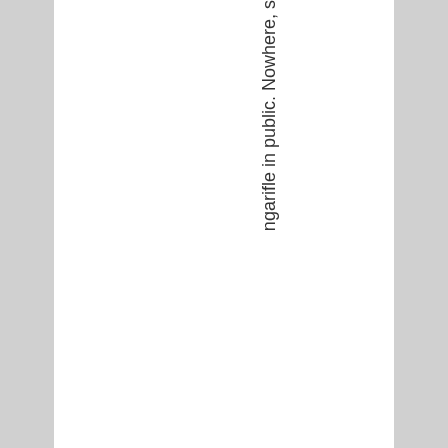ngarifle in public. Nowhere, s